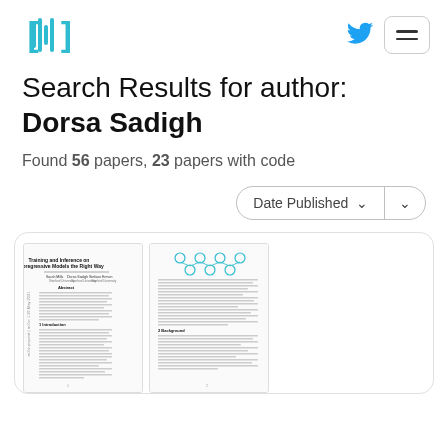Hugging Face logo, Twitter icon, menu button
Search Results for author: Dorsa Sadigh
Found 56 papers, 23 papers with code
Date Published ∨ ∨
[Figure (screenshot): Thumbnail preview of a paper titled 'Training and Inference on Autoregressive Models the Right Way' showing two pages of the paper side by side]